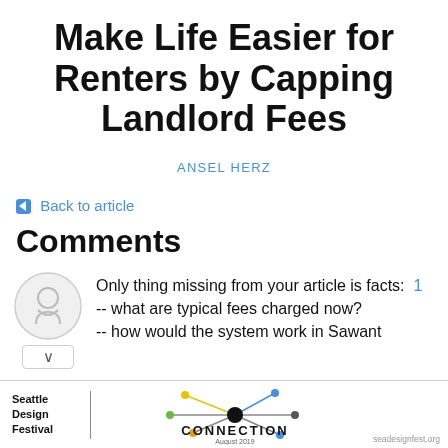Make Life Easier for Renters by Capping Landlord Fees
ANSEL HERZ
← Back to article
Comments
Only thing missing from your article is facts:  1
-- what are typical fees charged now?
-- how would the system work in Sawant
[Figure (other): Seattle Design Festival CONNECTION advertisement banner with network diagram]